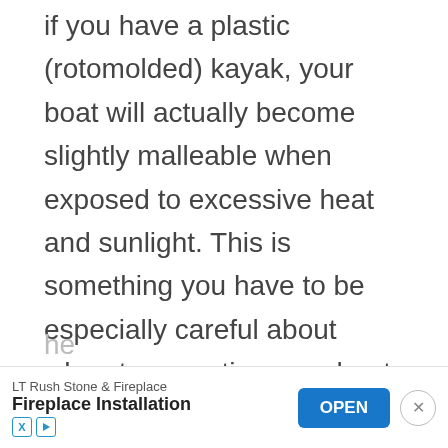if you have a plastic (rotomolded) kayak, your boat will actually become slightly malleable when exposed to excessive heat and sunlight. This is something you have to be especially careful about when transporting your boat on a roof rack.
The pros over at Wilderness Systems recommend using a rigid bar roof rack in addition to a kayak cradle attachment to disperse the weight evenly. This will he[lp]...
[Figure (other): Advertisement banner for LT Rush Stone & Fireplace - Fireplace Installation, with an OPEN button and close (X) button]